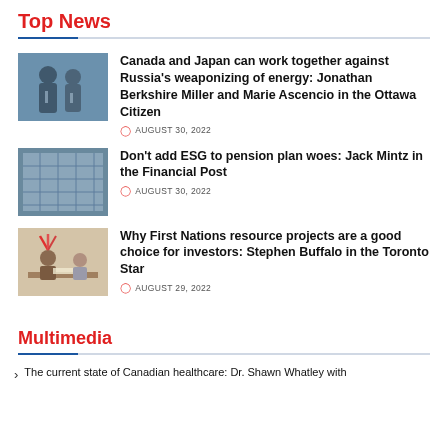Top News
[Figure (photo): Two men in suits speaking at microphones outdoors]
Canada and Japan can work together against Russia's weaponizing of energy: Jonathan Berkshire Miller and Marie Ascencio in the Ottawa Citizen
AUGUST 30, 2022
[Figure (photo): Modern glass building exterior]
Don't add ESG to pension plan woes: Jack Mintz in the Financial Post
AUGUST 30, 2022
[Figure (photo): Person in traditional Indigenous headdress seated at table with another person]
Why First Nations resource projects are a good choice for investors: Stephen Buffalo in the Toronto Star
AUGUST 29, 2022
Multimedia
The current state of Canadian healthcare: Dr. Shawn Whatley with